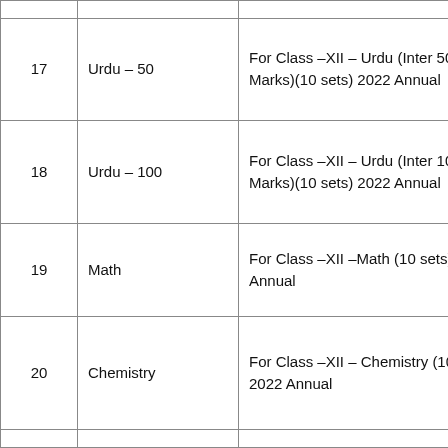| # | Subject | Description |
| --- | --- | --- |
| 17 | Urdu – 50 | For Class –XII – Urdu (Inter 50 Marks)(10 sets) 2022 Annual |
| 18 | Urdu – 100 | For Class –XII – Urdu (Inter 100 Marks)(10 sets) 2022 Annual |
| 19 | Math | For Class –XII –Math (10 sets) 2022 Annual |
| 20 | Chemistry | For Class –XII – Chemistry (10 sets) 2022 Annual |